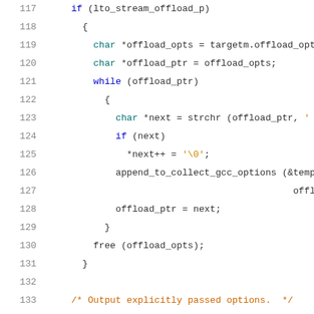[Figure (screenshot): Source code snippet in C showing lines 117-137. Code includes an if block checking lto_stream_offload_p, a while loop processing offload options, and the beginning of a for loop for outputting explicitly passed options.]